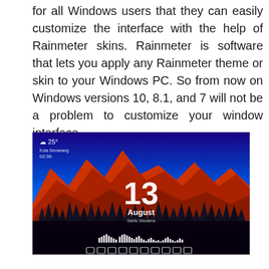for all Windows users that they can easily customize the interface with the help of Rainmeter skins. Rainmeter is software that lets you apply any Rainmeter theme or skin to your Windows PC. So from now on Windows versions 10, 8.1, and 7 will not be a problem to customize your window interface.
[Figure (screenshot): A Rainmeter Windows desktop skin screenshot showing a mountain landscape wallpaper with orange/red mountains, dark forest silhouette, blue sky gradient. White text shows '13 August', a weather widget with cloud icon and '25°', time '02:38', location text, an audio visualizer bar at the bottom, and a taskbar row with app icons.]